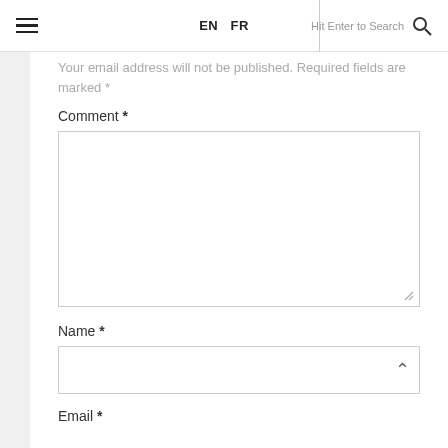EN FR | Hit Enter to Search
Your email address will not be published. Required fields are marked *
Comment *
Name *
Email *